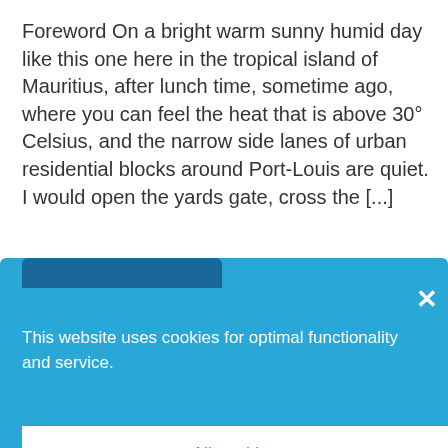Foreword On a bright warm sunny humid day like this one here in the tropical island of Mauritius, after lunch time, sometime ago, where you can feel the heat that is above 30° Celsius, and the narrow side lanes of urban residential blocks around Port-Louis are quiet. I would open the yards gate, cross the [...]
[Figure (screenshot): Cookie consent overlay popup with blue background showing 'This website uses cookies for optimal functionality and service.' with an 'All cookies' button and 'Deny' option. A close (×) button is in the top right.]